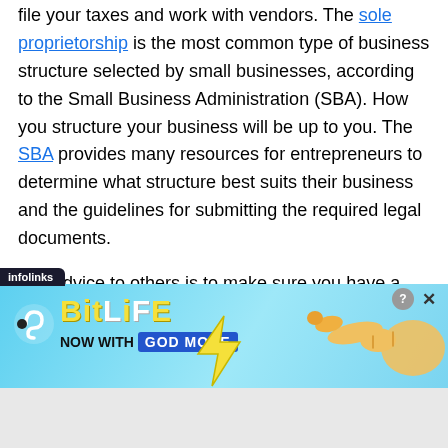file your taxes and work with vendors. The sole proprietorship is the most common type of business structure selected by small businesses, according to the Small Business Administration (SBA). How you structure your business will be up to you. The SBA provides many resources for entrepreneurs to determine what structure best suits their business and the guidelines for submitting the required legal documents.
“My advice to others is to make sure you have a plan and take time to really build your foundation,” said licensed cosmetologist Sonya Hernandez founder of Recover Restore Gro, a provider of plant-based options for breast cancer
[Figure (screenshot): BitLife advertisement banner with 'NOW WITH GOD MODE' text on a blue gradient background, with infolinks label, close and X buttons, and a hand pointer graphic.]